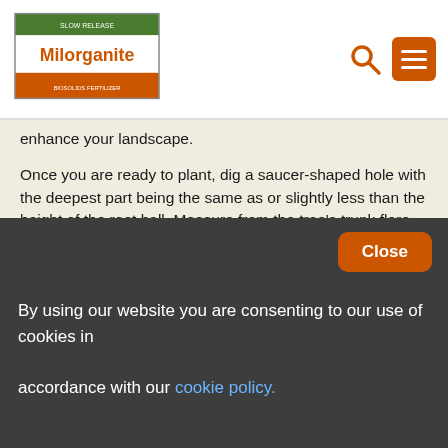Milorganite (logo) with search and menu icons
enhance your landscape.
Once you are ready to plant, dig a saucer-shaped hole with the deepest part being the same as or slightly less than the height of the root ball. Measure from the tree's trunk flare (place where roots curve away from the trunk) or shrub's crown (where roots meet stems) to the bottom of the root ball.  These should be at or slightly above the soil surface once planted.  Do not dig deeper which allows the soil to settle resulting in the tree or shrub being planted too deep.
Use the existing soil to backfill when planting trees and shrubs. Research has found that disrupting the soil and roughening the
Close
By using our website you are consenting to our use of cookies in accordance with our cookie policy.